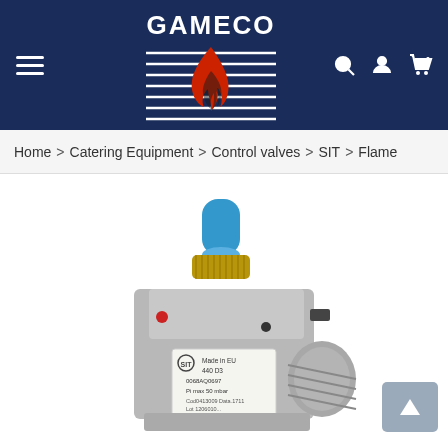[Figure (logo): GAMECO logo with flame graphic on dark navy background header, with hamburger menu icon on left and search, user, cart icons on right]
Home > Catering Equipment > Control valves > SIT > Flame
[Figure (photo): SIT gas control valve / flame failure device, metallic silver body with blue cylindrical button on top, label reading 'Made in EU 440 D3 0068AQ0697 Pi max 50 mbar', with threaded port visible on right side]